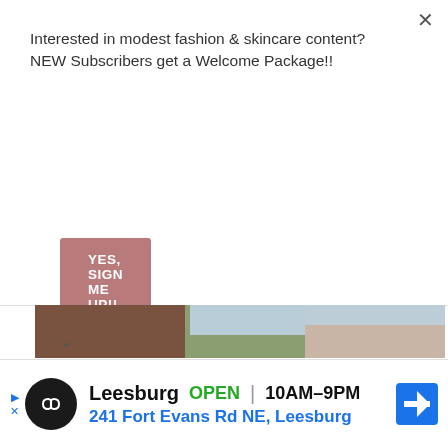Interested in modest fashion & skincare content? NEW Subscribers get a Welcome Package!!
YES, SIGN ME UP!!
[Figure (photo): Three women wearing modest fashion hijabs in brown, green, and pink/beige colors, standing outdoors with the word THE visible at bottom center]
Leesburg  OPEN | 10AM–9PM  241 Fort Evans Rd NE, Leesburg